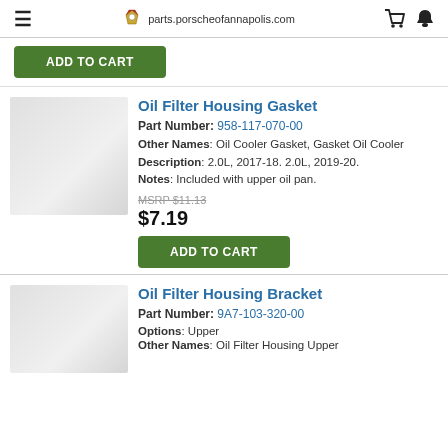parts.porscheofannapolis.com
ADD TO CART
Oil Filter Housing Gasket
Part Number: 958-117-070-00
Other Names: Oil Cooler Gasket, Gasket Oil Cooler
Description: 2.0L, 2017-18. 2.0L, 2019-20.
Notes: Included with upper oil pan.
MSRP $11.13
$7.19
ADD TO CART
Oil Filter Housing Bracket
Part Number: 9A7-103-320-00
Options: Upper
Other Names: Oil Filter Housing Upper